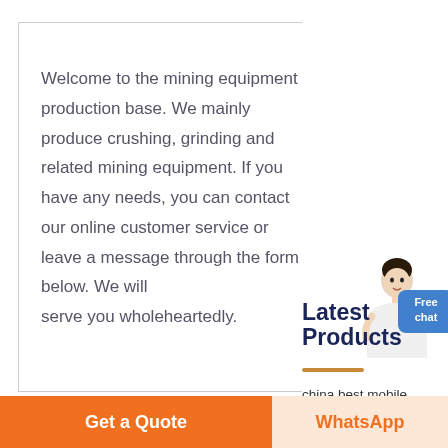Welcome to the mining equipment production base. We mainly produce crushing, grinding and related mining equipment. If you have any needs, you can contact our online customer service or leave a message through the form below. We will serve you wholeheartedly.
Latest Products
[Figure (illustration): Customer service representative figure with Free chat button]
china best mobile rock crusher for sale
keene rock crusher
Get a Quote
WhatsApp